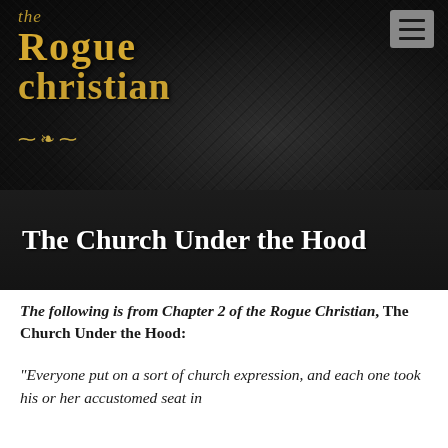[Figure (logo): The Rogue Christian logo in gold medieval font on dark background with decorative divider]
The Church Under the Hood
The following is from Chapter 2 of the Rogue Christian, The Church Under the Hood:
“Everyone put on a sort of church expression, and each one took his or her accustomed seat in